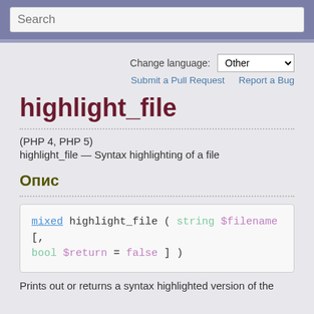Search
Change language: Other
Submit a Pull Request   Report a Bug
highlight_file
(PHP 4, PHP 5)
highlight_file — Syntax highlighting of a file
Опис
[Figure (screenshot): Code block showing function signature: mixed highlight_file ( string $filename [, bool $return = false ] )]
Prints out or returns a syntax highlighted version of the